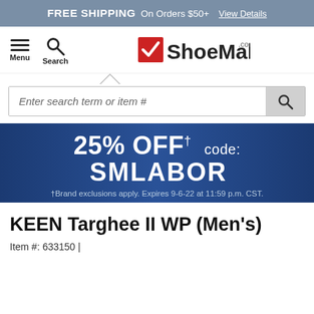FREE SHIPPING On Orders $50+ View Details
[Figure (logo): ShoeMall.com logo with red checkmark icon]
Enter search term or item #
25% OFF† code: SMLABOR †Brand exclusions apply. Expires 9-6-22 at 11:59 p.m. CST.
KEEN Targhee II WP (Men's)
Item #: 633150 |